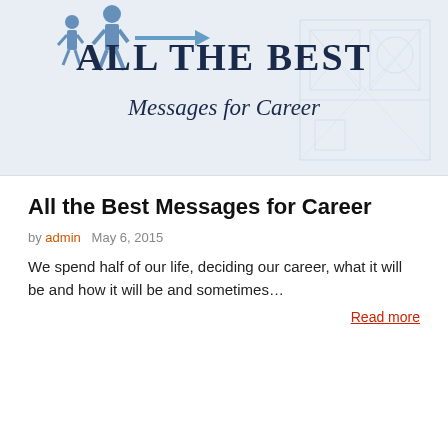[Figure (illustration): Blog header banner with blue figures walking and arrow, blueprint architectural drawings in background, large serif text 'ALL THE BEST Messages for Career']
All the Best Messages for Career
by admin   May 6, 2015
We spend half of our life, deciding our career, what it will be and how it will be and sometimes…
Read more